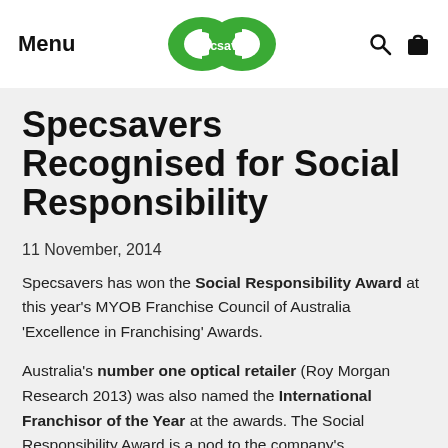Menu | Specsavers | [search] [bag]
Specsavers Recognised for Social Responsibility
11 November, 2014
Specsavers has won the Social Responsibility Award at this year's MYOB Franchise Council of Australia 'Excellence in Franchising' Awards.
Australia's number one optical retailer (Roy Morgan Research 2013) was also named the International Franchisor of the Year at the awards. The Social Responsibility Award is a nod to the company's